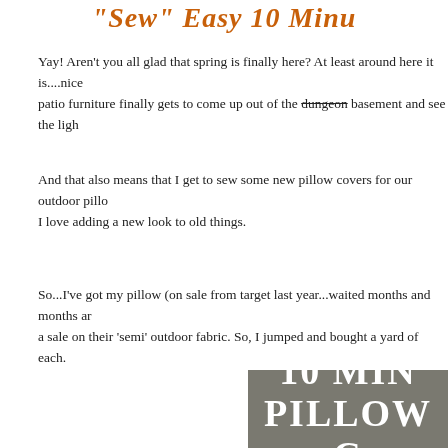"Sew" Easy 10 Minu…
Yay! Aren't you all glad that spring is finally here? At least around here it is....nice …patio furniture finally gets to come up out of the dungeon basement and see the ligh…
And that also means that I get to sew some new pillow covers for our outdoor pillo…I love adding a new look to old things.
So...I've got my pillow (on sale from target last year...waited months and months an…a sale on their 'semi' outdoor fabric. So, I jumped and bought a yard of each.
[Figure (photo): Composite image: top gray banner with white bold text '10 min Pillow C…' and bottom photo of stacked fabric pillow covers in neutral tones (beige, taupe, striped and floral patterns).]